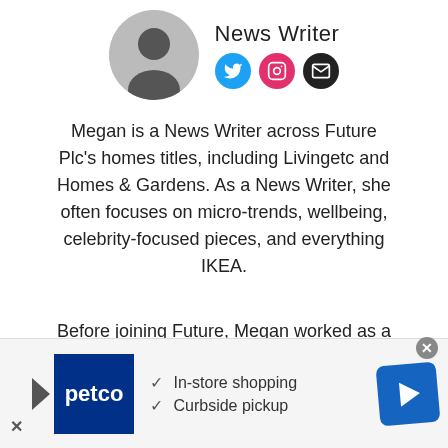[Figure (photo): Circular profile photo of author (black and white headshot) next to 'News Writer' title and social media icons (Twitter, Instagram, Email)]
Megan is a News Writer across Future Plc's homes titles, including Livingetc and Homes & Gardens. As a News Writer, she often focuses on micro-trends, wellbeing, celebrity-focused pieces, and everything IKEA.
Before joining Future, Megan worked as a News Explainer at The Telegraph, following her MA in International
[Figure (other): Petco advertisement banner: In-store shopping, Curbside pickup]